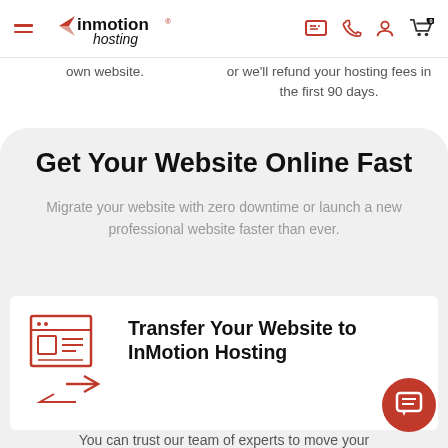InMotion Hosting navigation header with hamburger menu, logo, chat icon, phone icon, account icon, and cart icon
own website.
or we'll refund your hosting fees in the first 90 days.
Get Your Website Online Fast
Migrate your website with zero downtime or launch a new professional website faster than ever.
Transfer Your Website to InMotion Hosting
You can trust our team of experts to move your